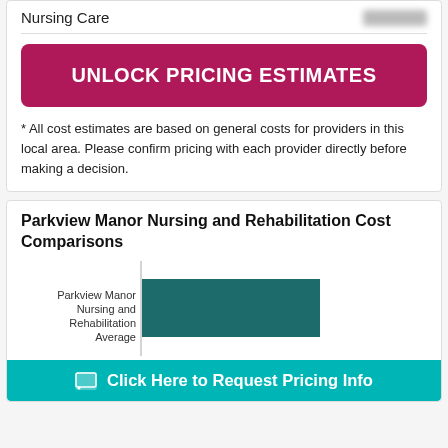Nursing Care
UNLOCK PRICING ESTIMATES
* All cost estimates are based on general costs for providers in this local area. Please confirm pricing with each provider directly before making a decision.
Parkview Manor Nursing and Rehabilitation Cost Comparisons
[Figure (bar-chart): Parkview Manor Nursing and Rehabilitation Cost Comparisons]
Click Here to Request Pricing Info